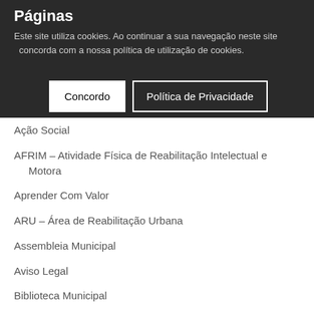Páginas
Este site utiliza cookies. Ao continuar a sua navegação neste site concorda com a nossa política de utilização de cookies.
Ação Social
AFRIM – Atividade Física de Reabilitação Intelectual e Motora
Aprender Com Valor
ARU – Área de Reabilitação Urbana
Assembleia Municipal
Aviso Legal
Biblioteca Municipal
Biografia Sacadura Cabral
Bom Proveito
Calendário de Reuniões da Assembleia Municipal
Câmara Municipal